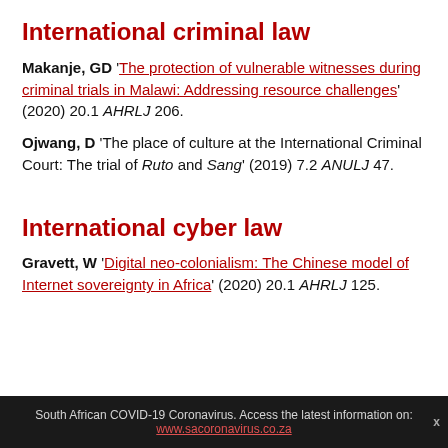International criminal law
Makanje, GD 'The protection of vulnerable witnesses during criminal trials in Malawi: Addressing resource challenges' (2020) 20.1 AHRLJ 206.
Ojwang, D 'The place of culture at the International Criminal Court: The trial of Ruto and Sang' (2019) 7.2 ANULJ 47.
International cyber law
Gravett, W 'Digital neo-colonialism: The Chinese model of Internet sovereignty in Africa' (2020) 20.1 AHRLJ 125.
South African COVID-19 Coronavirus. Access the latest information on: www.sacoronavirus.co.za